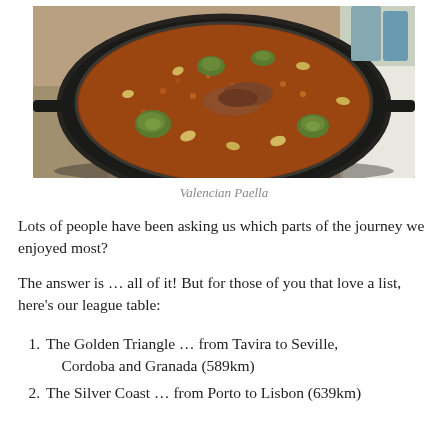[Figure (photo): A large black paella pan filled with Valencian paella — rice cooked with vegetables including artichokes and green beans, sitting on a stove or burner.]
Valencian Paella
Lots of people have been asking us which parts of the journey we enjoyed most?
The answer is … all of it! But for those of you that love a list, here's our league table:
The Golden Triangle … from Tavira to Seville, Cordoba and Granada (589km)
The Silver Coast … from Porto to Lisbon (639km)